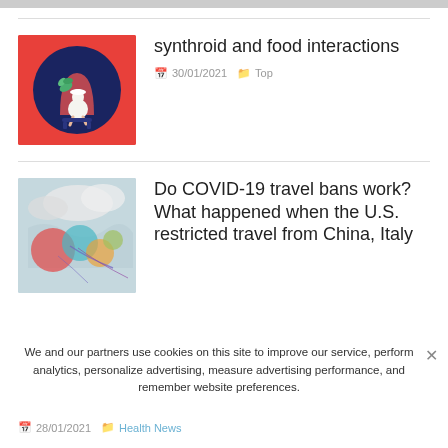[Figure (illustration): Red background thumbnail with dark navy circle containing illustrated woman sitting with plant]
synthroid and food interactions
30/01/2021   Top
[Figure (illustration): World map with colorful bubbles overlaid, COVID travel visualization]
Do COVID-19 travel bans work? What happened when the U.S. restricted travel from China, Italy
28/01/2021   Health News
We and our partners use cookies on this site to improve our service, perform analytics, personalize advertising, measure advertising performance, and remember website preferences.